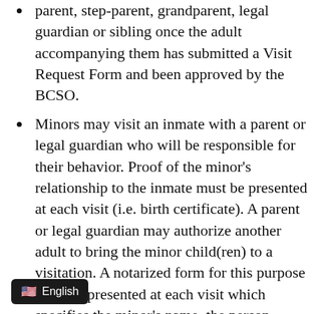Minors under the age of 18 are allowed to visit their parent, step-parent, grandparent, legal guardian or sibling once the adult accompanying them has submitted a Visit Request Form and been approved by the BCSO.
Minors may visit an inmate with a parent or legal guardian who will be responsible for their behavior. Proof of the minor's relationship to the inmate must be presented at each visit (i.e. birth certificate). A parent or legal guardian may authorize another adult to bring the minor child(ren) to a visitation. A notarized form for this purpose must be presented at each visit which specifies the minor's name, the person authorized to bring the minor into the facility, the inmate's name and the signature of the parent or legal guardian submitting the form. Forms for this purpose are available at the BCCF upon [in the absence of a parent or legal] [a visit by a minor may be granted with the]